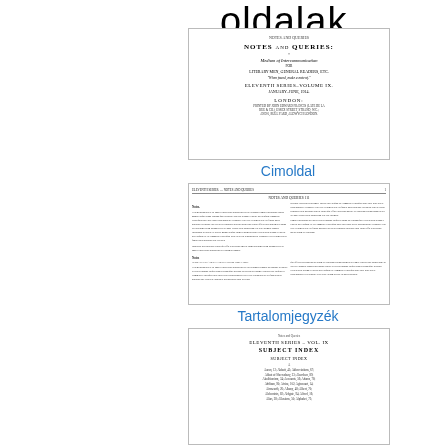oldalak
[Figure (screenshot): Miniature thumbnail of a title page for 'Notes and Queries: A Medium of Intercommunication for Literary Men, General Readers, &c.' Eleventh Series, Volume IX, London.]
Cimoldal
[Figure (screenshot): Miniature thumbnail of a content/article page from Notes and Queries, showing two columns of dense text with a section header 'Notes'.]
Tartalomjegyzék
[Figure (screenshot): Miniature thumbnail of an index page: 'ELEVENTH SERIES - VOL IX, SUBJECT INDEX'.]